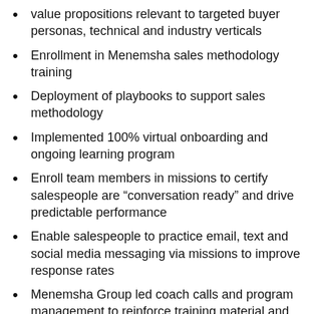value propositions relevant to targeted buyer personas, technical and industry verticals
Enrollment in Menemsha sales methodology training
Deployment of playbooks to support sales methodology
Implemented 100% virtual onboarding and ongoing learning program
Enroll team members in missions to certify salespeople are “conversation ready” and drive predictable performance
Enable salespeople to practice email, text and social media messaging via missions to improve response rates
Menemsha Group led coach calls and program management to reinforce training material and drive adoption on behalf of learners and managers